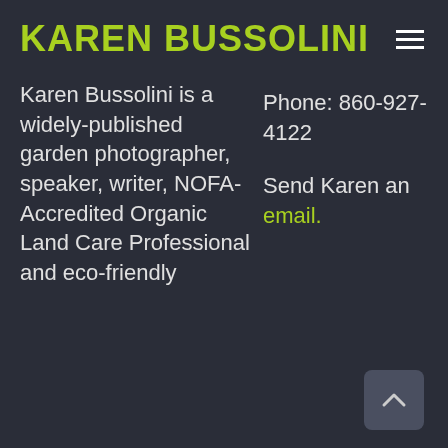KAREN BUSSOLINI
Karen Bussolini is a widely-published garden photographer, speaker, writer, NOFA-Accredited Organic Land Care Professional and eco-friendly
Phone: 860-927-4122
Send Karen an email.